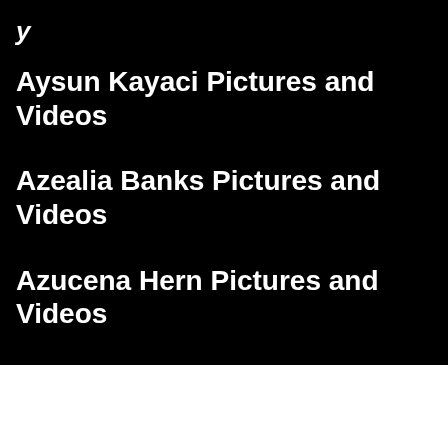Aysun Kayaci Pictures and Videos
Azealia Banks Pictures and Videos
Azucena Hern Pictures and Videos
Contact Us
Copyright © 2022 Shameless Celebrities